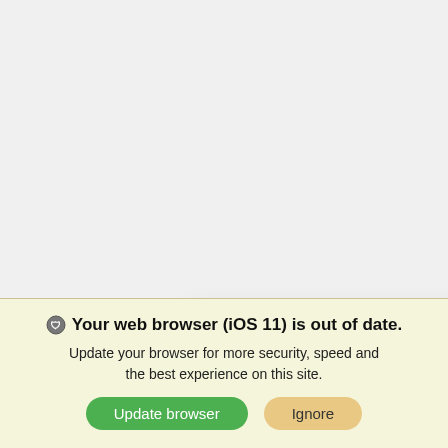[Figure (screenshot): Car dealership website listing page showing a new 2022 vehicle (LT Sedan 4d), with stock number C22 and VIN ST8NF194189. A chat popup overlay is visible with an agent avatar photo, chevron close button, text 'Ask me about our buy from home program.', and two black buttons labeled TEXT and CHAT. A blue price bar shows MSRP $30,883 and Gauthier All In Price $27,883.]
Ask me about our buy from home program.
STOCK#: C22
ST8NF194189
New 2022
LT Sedan 4d
MSRP
$30,883
Gauthier All In Price
$27,883
Your web browser (iOS 11) is out of date.
Update your browser for more security, speed and the best experience on this site.
Update browser
Ignore